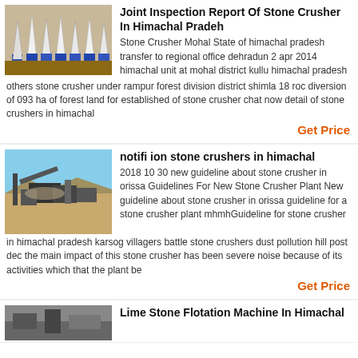[Figure (photo): White cone-shaped industrial equipment (stone crusher components) in a warehouse/factory setting]
Joint Inspection Report Of Stone Crusher In Himachal Pradeh
Stone Crusher Mohal State of himachal pradesh transfer to regional office dehradun 2 apr 2014 himachal unit at mohal district kullu himachal pradesh others stone crusher under rampur forest division district shimla 18 roc diversion of 093 ha of forest land for established of stone crusher chat now detail of stone crushers in himachal
Get Price
[Figure (photo): Outdoor stone crusher plant with machinery against a blue sky and sandy/dusty terrain]
notifi ion stone crushers in himachal
2018 10 30 new guideline about stone crusher in orissa Guidelines For New Stone Crusher Plant New guideline about stone crusher in orissa guideline for a stone crusher plant mhmhGuideline for stone crusher in himachal pradesh karsog villagers battle stone crushers dust pollution hill post dec the main impact of this stone crusher has been severe noise because of its activities which that the plant be
Get Price
[Figure (photo): Partial view of Lime Stone Flotation Machine in Himachal]
Lime Stone Flotation Machine In Himachal